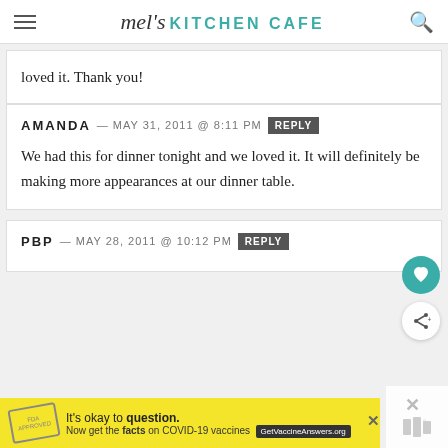mel's KITCHEN CAFE
loved it. Thank you!
AMANDA — MAY 31, 2011 @ 8:11 PM   REPLY
We had this for dinner tonight and we loved it. It will definitely be making more appearances at our dinner table.
PBP — MAY 28, 2011 @ 10:12 PM   REPLY
[Figure (screenshot): Yellow advertisement bar: It's okay to question. Now get the facts on COVID-19 vaccines. GetVaccineAnswers.org]